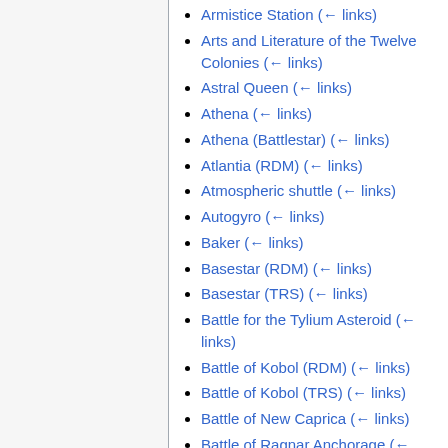Armistice Station (← links)
Arts and Literature of the Twelve Colonies (← links)
Astral Queen (← links)
Athena (← links)
Athena (Battlestar) (← links)
Atlantia (RDM) (← links)
Atmospheric shuttle (← links)
Autogyro (← links)
Baker (← links)
Basestar (RDM) (← links)
Basestar (TRS) (← links)
Battle for the Tylium Asteroid (← links)
Battle of Kobol (RDM) (← links)
Battle of Kobol (TRS) (← links)
Battle of New Caprica (← links)
Battle of Ragnar Anchorage (← links)